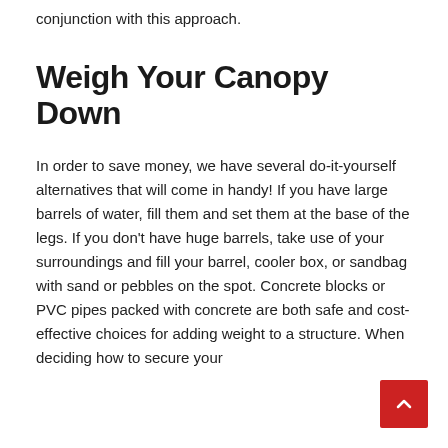conjunction with this approach.
Weigh Your Canopy Down
In order to save money, we have several do-it-yourself alternatives that will come in handy! If you have large barrels of water, fill them and set them at the base of the legs. If you don’t have huge barrels, take use of your surroundings and fill your barrel, cooler box, or sandbag with sand or pebbles on the spot. Concrete blocks or PVC pipes packed with concrete are both safe and cost-effective choices for adding weight to a structure. When deciding how to secure your